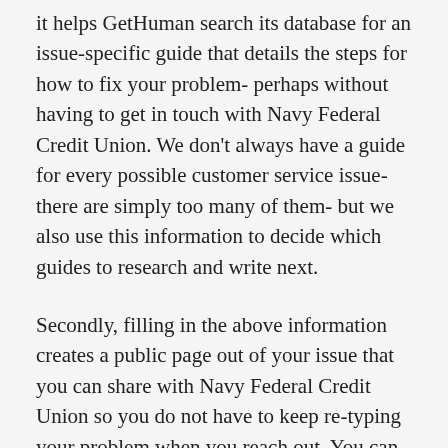it helps GetHuman search its database for an issue-specific guide that details the steps for how to fix your problem- perhaps without having to get in touch with Navy Federal Credit Union. We don't always have a guide for every possible customer service issue- there are simply too many of them- but we also use this information to decide which guides to research and write next.
Secondly, filling in the above information creates a public page out of your issue that you can share with Navy Federal Credit Union so you do not have to keep re-typing your problem when you reach out. You can also share with other customers to solicit help from them. When you resolve the issue, you can share with other customers how you resolve it. The next customer that comes along may see this and resolve their own problem faster thanks to you. You can use the links sent to your email address to edit or delete